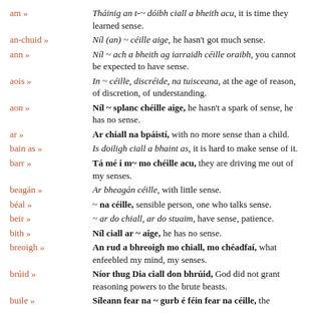am » — Tháinig an t-~ dóibh ciall a bheith acu, it is time they learned sense.
an-chuid » — Níl (an) ~ céille aige, he hasn't got much sense.
ann » — Níl ~ ach a bheith ag iarraidh céille oraibh, you cannot be expected to have sense.
aois » — In ~ céille, discréide, na tuisceana, at the age of reason, of discretion, of understanding.
aon » — Níl ~ splanc chéille aige, he hasn't a spark of sense, he has no sense.
ar » — Ar chiall na bpáistí, with no more sense than a child.
bain as » — Is doiligh ciall a bhaint as, it is hard to make sense of it.
barr » — Tá mé i m~ mo chéille acu, they are driving me out of my senses.
beagán » — Ar bheagán céille, with little sense.
béal » — ~ na céille, sensible person, one who talks sense.
beir » — ~ ar do chiall, ar do stuaim, have sense, patience.
bith » — Níl ciall ar ~ aige, he has no sense.
breoigh » — An rud a bhreoigh mo chiall, mo chéadfaí, what enfeebled my mind, my senses.
brúid » — Níor thug Dia ciall don bhrúid, God did not grant reasoning powers to the brute beasts.
buile » — Síleann fear na ~ gurb é féin fear na céille, the